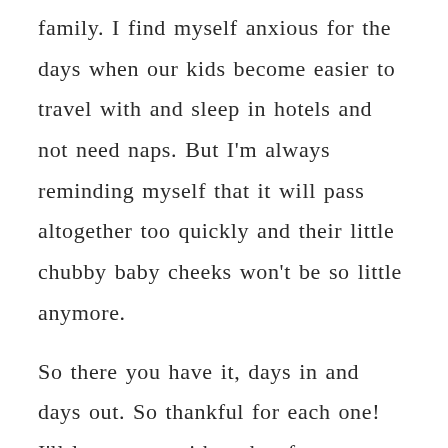family. I find myself anxious for the days when our kids become easier to travel with and sleep in hotels and not need naps. But I'm always reminding myself that it will pass altogether too quickly and their little chubby baby cheeks won't be so little anymore.

So there you have it, days in and days out. So thankful for each one! I'll leave you with a shot from Father's Day